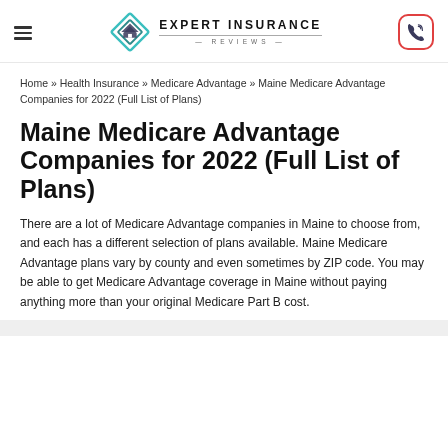Expert Insurance Reviews
Home » Health Insurance » Medicare Advantage » Maine Medicare Advantage Companies for 2022 (Full List of Plans)
Maine Medicare Advantage Companies for 2022 (Full List of Plans)
There are a lot of Medicare Advantage companies in Maine to choose from, and each has a different selection of plans available. Maine Medicare Advantage plans vary by county and even sometimes by ZIP code. You may be able to get Medicare Advantage coverage in Maine without paying anything more than your original Medicare Part B cost.